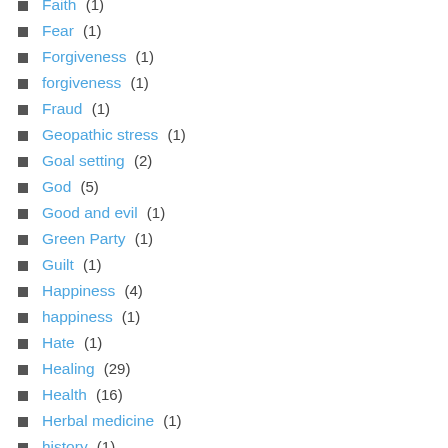Faith (1)
Fear (1)
Forgiveness (1)
forgiveness (1)
Fraud (1)
Geopathic stress (1)
Goal setting (2)
God (5)
Good and evil (1)
Green Party (1)
Guilt (1)
Happiness (4)
happiness (1)
Hate (1)
Healing (29)
Health (16)
Herbal medicine (1)
history (1)
Homeopathy (4)
Human body (1)
Imagination (2)